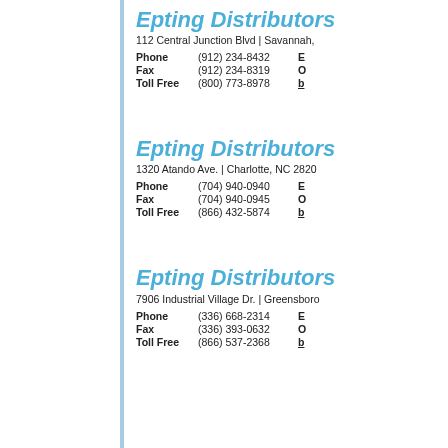Epting Distributors
112 Central Junction Blvd | Savannah,
Phone (912) 234-8432
Fax (912) 234-8319
Toll Free (800) 773-8978
Epting Distributors
1320 Atando Ave. | Charlotte, NC 2820
Phone (704) 940-0940
Fax (704) 940-0945
Toll Free (866) 432-5874
Epting Distributors
7906 Industrial Village Dr. | Greensboro
Phone (336) 668-2314
Fax (336) 393-0632
Toll Free (866) 537-2368